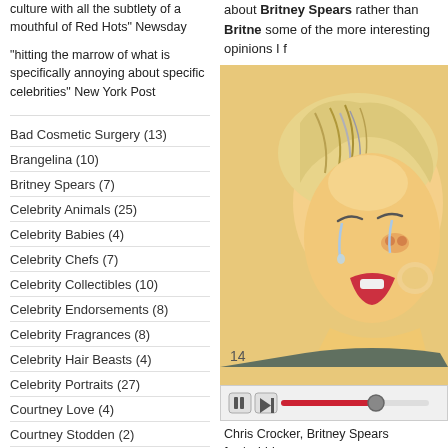culture with all the subtlety of a mouthful of Red Hots" Newsday
"hitting the marrow of what is specifically annoying about specific celebrities" New York Post
Bad Cosmetic Surgery (13)
Brangelina (10)
Britney Spears (7)
Celebrity Animals (25)
Celebrity Babies (4)
Celebrity Chefs (7)
Celebrity Collectibles (10)
Celebrity Endorsements (8)
Celebrity Fragrances (8)
Celebrity Hair Beasts (4)
Celebrity Portraits (27)
Courtney Love (4)
Courtney Stodden (2)
Donald Trump (5)
about Britney Spears rather than Britney some of the more interesting opinions I f
[Figure (illustration): Illustrated caricature of a crying person (Chris Crocker / Britney Spears fan) with exaggerated features, tears, open mouth, and a media player bar at the bottom with pause and skip buttons and a red progress bar. Number 14 visible in bottom-left corner.]
Chris Crocker, Britney Spears fan/sobbin